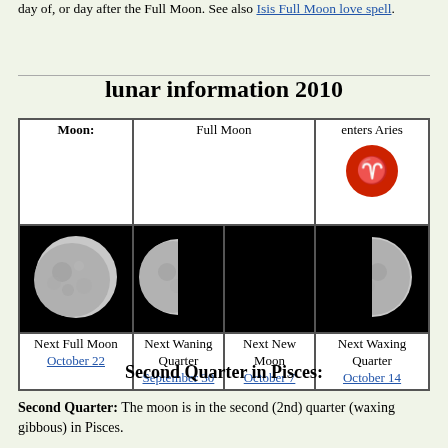day of, or day after the Full Moon. See also Isis Full Moon love spell.
| Moon: | Full Moon | enters Aries |  |
| --- | --- | --- | --- |
| [moon images row] | Next Full Moon October 22 | Next Waning Quarter September 30 | Next New Moon October 7 | Next Waxing Quarter October 14 |
Second Quarter in Pisces:
Second Quarter: The moon is in the second (2nd) quarter (waxing gibbous) in Pisces.